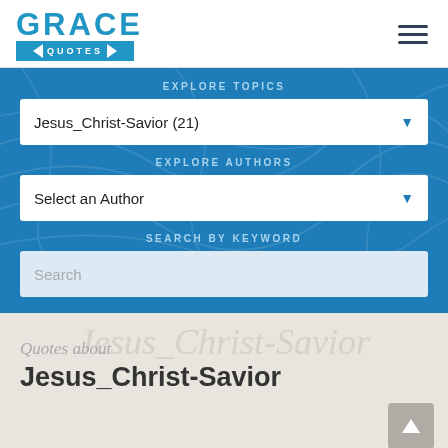[Figure (logo): Grace Quotes logo with blue text GRACE and blue banner reading QUOTES with arrow decorations on each side]
[Figure (other): Hamburger menu icon with three horizontal lines]
EXPLORE TOPICS
Jesus_Christ-Savior (21)
EXPLORE AUTHORS
Select an Author
SEARCH BY KEYWORD
Search
Quotes about
Jesus_Christ-Savior